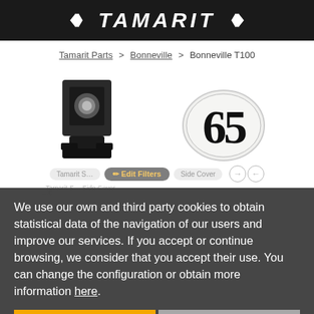TAMARIT
Tamarit Parts > Bonneville > Bonneville T100
[Figure (photo): Black motorcycle bracket/mount part]
[Figure (illustration): Oval badge with number 65]
We use our own and third party cookies to obtain statistical data of the navigation of our users and improve our services. If you accept or continue browsing, we consider that you accept their use. You can change the configuration or obtain more information here.
Accept
Reject